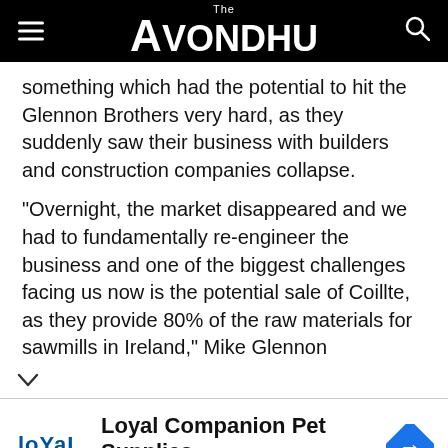The Avondhu
something which had the potential to hit the Glennon Brothers very hard, as they suddenly saw their business with builders and construction companies collapse.
"Overnight, the market disappeared and we had to fundamentally re-engineer the business and one of the biggest challenges facing us now is the potential sale of Coillte, as they provide 80% of the raw materials for sawmills in Ireland," Mike Glennon
[Figure (infographic): Advertisement for Loyal Companion Pet Supplies with logo, text, and navigation badge icon]